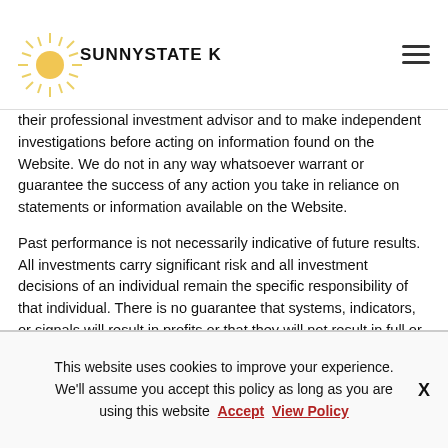SunnyState K
their professional investment advisor and to make independent investigations before acting on information found on the Website. We do not in any way whatsoever warrant or guarantee the success of any action you take in reliance on statements or information available on the Website.
Past performance is not necessarily indicative of future results. All investments carry significant risk and all investment decisions of an individual remain the specific responsibility of that individual. There is no guarantee that systems, indicators, or signals will result in profits or that they will not result in full or partial losses. All investors are advised to fully understand all risks associated with any kind of investing they choose to do.
This website uses cookies to improve your experience. We'll assume you accept this policy as long as you are using this website Accept View Policy